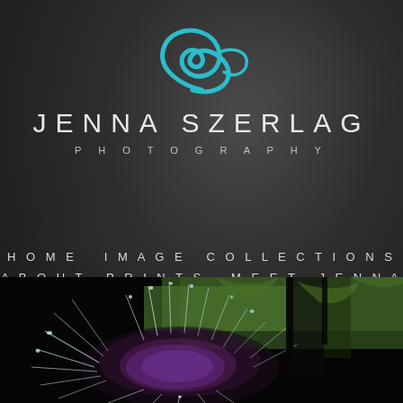[Figure (logo): Jenna Szerlag Photography logo: teal/turquoise stylized wave or swirl above the text]
JENNA SZERLAG
PHOTOGRAPHY
HOME
IMAGE COLLECTIONS
ABOUT PRINTS
MEET JENNA
CONTACT
[Figure (photo): Close-up macro photograph of a thistle or spiky flower with purple and green tones, with water droplets on the spines, against a dark background]